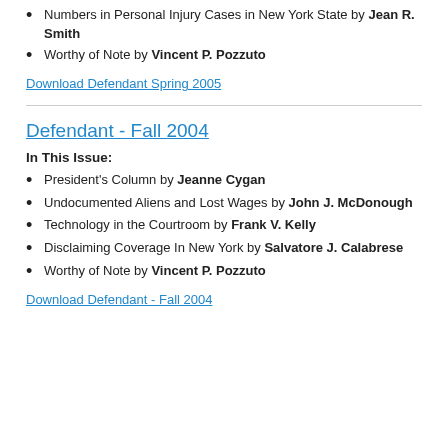Numbers in Personal Injury Cases in New York State by Jean R. Smith
Worthy of Note by Vincent P. Pozzuto
Download Defendant Spring 2005
Defendant - Fall 2004
In This Issue:
President's Column by Jeanne Cygan
Undocumented Aliens and Lost Wages by John J. McDonough
Technology in the Courtroom by Frank V. Kelly
Disclaiming Coverage In New York by Salvatore J. Calabrese
Worthy of Note by Vincent P. Pozzuto
Download Defendant - Fall 2004